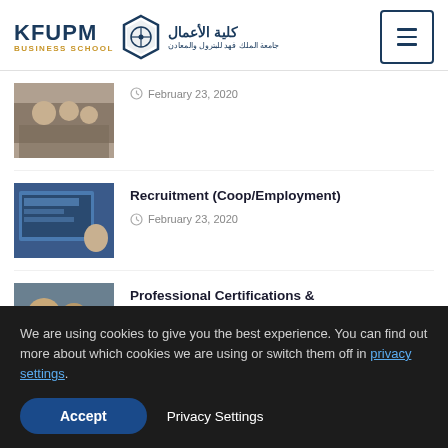[Figure (logo): KFUPM Business School logo with Arabic text and emblem]
[Figure (photo): Group photo of people at an event]
February 23, 2020
[Figure (photo): Person at a computer screen / presentation]
Recruitment (Coop/Employment)
February 23, 2020
[Figure (photo): Partial photo of people]
Professional Certifications &
We are using cookies to give you the best experience. You can find out more about which cookies we are using or switch them off in privacy settings.
Accept
Privacy Settings